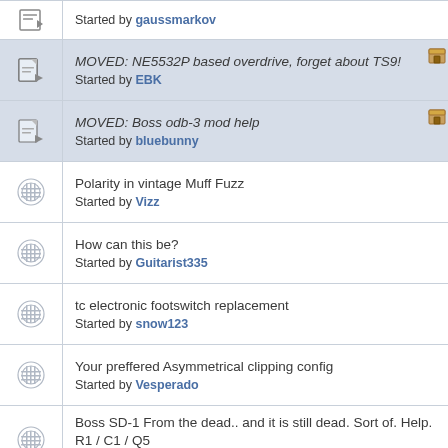Started by gaussmarkov
MOVED: NE5532P based overdrive, forget about TS9! Started by EBK
MOVED: Boss odb-3 mod help Started by bluebunny
Polarity in vintage Muff Fuzz Started by Vizz
How can this be? Started by Guitarist335
tc electronic footswitch replacement Started by snow123
Your preffered Asymmetrical clipping config Started by Vesperado
Boss SD-1 From the dead.. and it is still dead. Sort of. Help. R1 / C1 / Q5 Started by Saturnine10
Help identify what the Tomsine Tube Pusher is a clone of. Please! Started by PurpleStrat
looking for circuit recommendations about building an overdrive